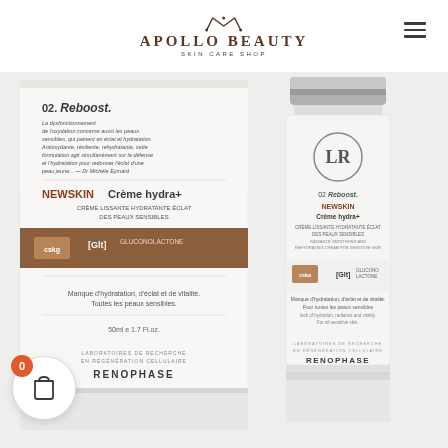[Figure (logo): Apollo Beauty Skin Care Shop logo with crown icon and decorative text in brown/terracotta color]
[Figure (photo): Renophase NEWSKIN Crème hydra+ product photo showing both the product box (back side with text in French about Reboost formula) and the white cylindrical bottle, on a light grey background. The box shows ingredients CSKG and [Glt] Gluconolactone, 50ml/1.7 fl oz. The bottle has LR logo and similar labeling.]